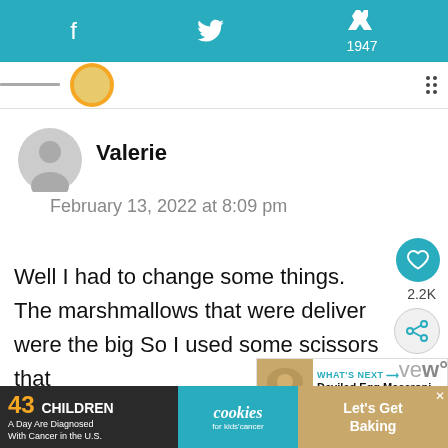f [Facebook share] | [Twitter share] | P 1947 [Pinterest share]
[Figure (illustration): Gray circular avatar/profile icon with silhouette of a person]
Valerie
February 13, 2022 at 8:09 pm
Well I had to change some things. The marshmallows that were deliver were the big So I used some scissors that
[Figure (infographic): What's Next arrow label with thumbnail of Deviled Egg Macaroni... recipe]
43 CHILDREN A Day Are Diagnosed With Cancer in the U.S. | cookies for kids' cancer | Let's Get Baking